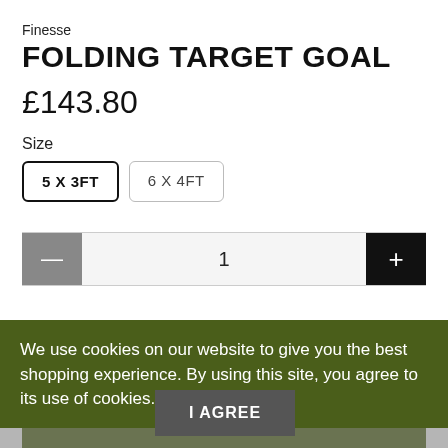Finesse
FOLDING TARGET GOAL
£143.80
Size
5 X 3FT
6 X 4FT
1
ADD TO CART
We use cookies on our website to give you the best shopping experience. By using this site, you agree to its use of cookies.
Finesse Aluminium Folding Target Goal is designed to be easily transported and takes up minimal space when not in use, it is ideal as a portable training aid for professional football academies or at home in the
I AGREE